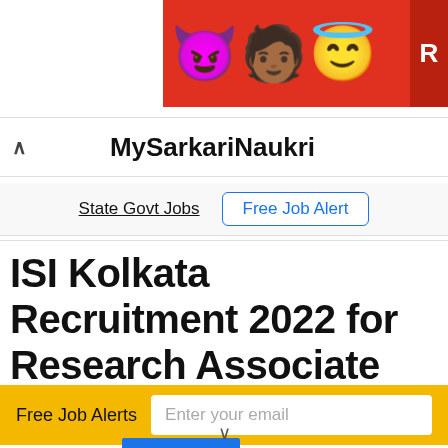[Figure (illustration): Advertisement banner with emoji characters - devil emoji, dark-skinned person emoji, and halo smiley emoji on a red background, partially cropped on the right with a dark red label area showing 'R']
MySarkariNaukri
State Govt Jobs   Free Job Alert
ISI Kolkata Recruitment 2022 for Research Associate
Free Job Alerts   Enter your email